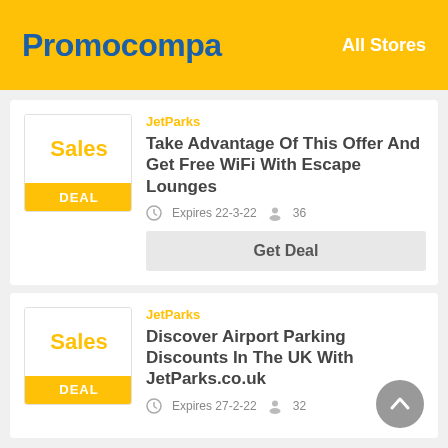Promocompa  All Stores
JetParks
Take Advantage Of This Offer And Get Free WiFi With Escape Lounges
Expires 22-3-22  36
Get Deal
JetParks
Discover Airport Parking Discounts In The UK With JetParks.co.uk
Expires 27-2-22  32